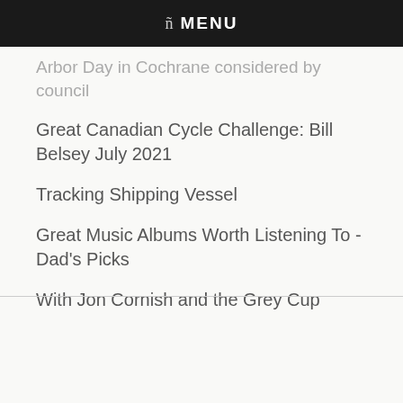ñ MENU
Arbor Day in Cochrane considered by council
Great Canadian Cycle Challenge: Bill Belsey July 2021
Tracking Shipping Vessel
Great Music Albums Worth Listening To - Dad's Picks
With Jon Cornish and the Grey Cup